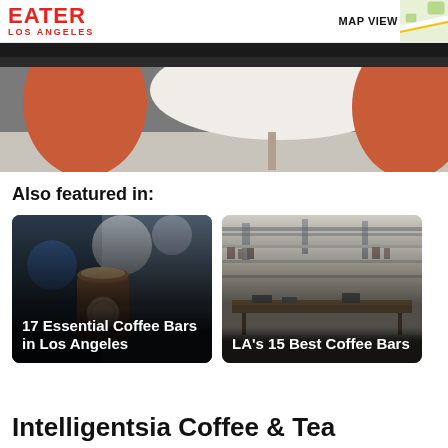EATER LOS ANGELES | MAP VIEW
[Figure (photo): Close-up photo of orange chairs and a round white table in a cafe setting]
Also featured in:
[Figure (photo): Card image: A hand holding an iced coffee drink with a coffee shop logo, blurred background. Title: 17 Essential Coffee Bars in Los Angeles]
[Figure (photo): Card image: Interior of a modern coffee bar with shelving and long tables. Title: LA's 15 Best Coffee Bars]
Intelligentsia Coffee & Tea